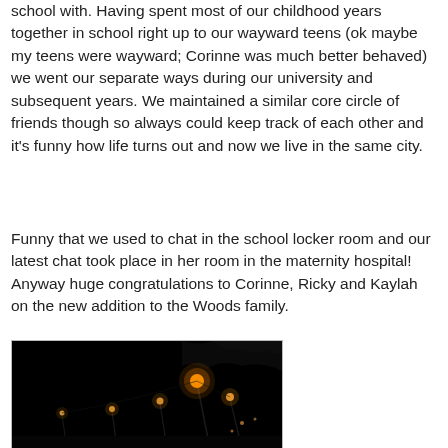school with. Having spent most of our childhood years together in school right up to our wayward teens (ok maybe my teens were wayward; Corinne was much better behaved) we went our separate ways during our university and subsequent years. We maintained a similar core circle of friends though so always could keep track of each other and it's funny how life turns out and now we live in the same city.
Funny that we used to chat in the school locker room and our latest chat took place in her room in the maternity hospital! Anyway huge congratulations to Corinne, Ricky and Kaylah on the new addition to the Woods family.
[Figure (photo): A dark nighttime outdoor photo showing street lights glowing orange/amber against a very dark black sky, with some tree silhouettes visible.]